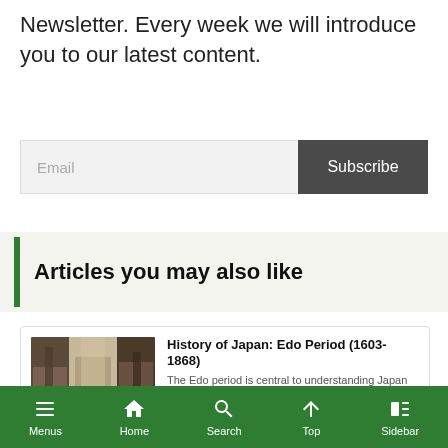Newsletter. Every week we will introduce you to our latest content.
Email  Subscribe
Articles you may also like
History of Japan: Edo Period (1603-1868)
The Edo period is central to understanding Japan and its culture. In this blog we will briefly explain the history of the Edo period and tell you some places where you can still…
blog.japanwondertravel.com  2020.07.31
Menus  Home  Search  Top  Sidebar